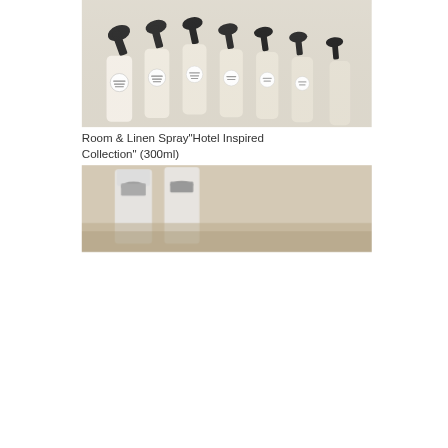[Figure (photo): Row of white room and linen spray bottles with black pump tops, arranged diagonally, showing branded labels on a light background]
Room & Linen Spray"Hotel Inspired Collection" (300ml)
₱499.00
[Figure (photo): Partial view of product bottles on a wooden surface, cropped at the bottom of the page]